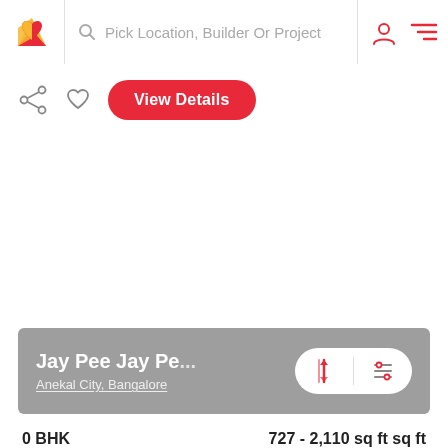Pick Location, Builder Or Project
[Figure (screenshot): Mobile app UI showing a property listing page with navigation bar, action buttons, property image area, property name overlay with sort/filter controls, and property details.]
View Details
Jay Pee Jay Pe...
Anekal City, Bangalore
0 BHK
Plot
727 - 2,110 sq ft sq ft
Area in sq ft